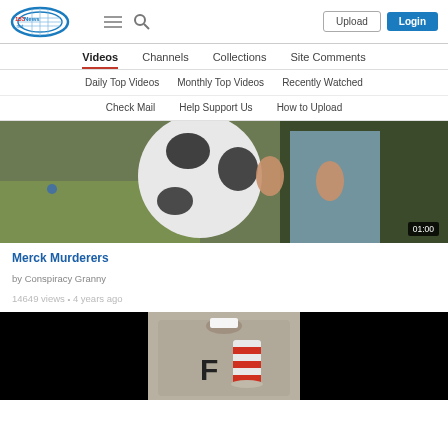153News.net — Upload | Login
Videos | Channels | Collections | Site Comments
Daily Top Videos | Monthly Top Videos | Recently Watched
Check Mail | Help Support Us | How to Upload
[Figure (screenshot): Video thumbnail showing a soccer ball close-up with a person in a blue shirt in the background. Duration shown as 01:00.]
Merck Murderers
by Conspiracy Granny
14649 views • 4 years ago
[Figure (screenshot): Video thumbnail showing a gray t-shirt with 'F' and a Dr. Seuss-style hat design, flanked by black areas on both sides.]